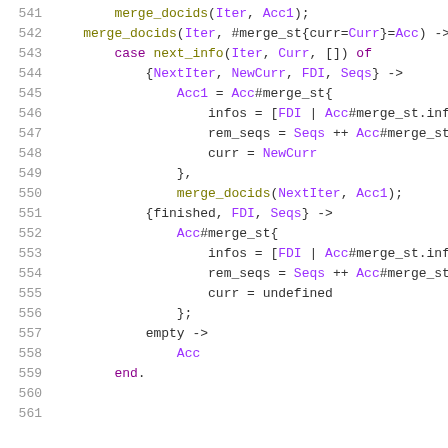[Figure (screenshot): Erlang/Elixir source code snippet, lines 541-561, showing merge_docids function with case expression handling next_info, finished, and empty patterns]